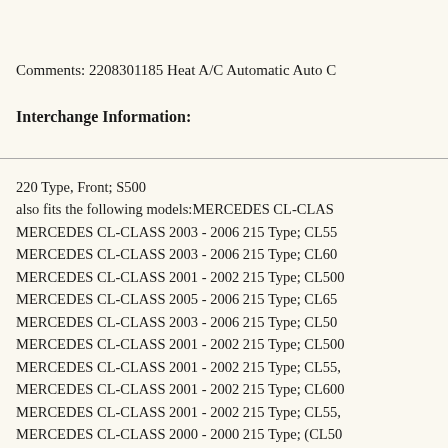Comments: 2208301185 Heat A/C Automatic Auto C
Interchange Information:
220 Type, Front; S500
also fits the following models:MERCEDES CL-CLAS
MERCEDES CL-CLASS 2003 - 2006 215 Type; CL55
MERCEDES CL-CLASS 2003 - 2006 215 Type; CL60
MERCEDES CL-CLASS 2001 - 2002 215 Type; CL500
MERCEDES CL-CLASS 2005 - 2006 215 Type; CL65
MERCEDES CL-CLASS 2003 - 2006 215 Type; CL50
MERCEDES CL-CLASS 2001 - 2002 215 Type; CL500
MERCEDES CL-CLASS 2001 - 2002 215 Type; CL55,
MERCEDES CL-CLASS 2001 - 2002 215 Type; CL600
MERCEDES CL-CLASS 2001 - 2002 215 Type; CL55,
MERCEDES CL-CLASS 2000 - 2000 215 Type; (CL50
MERCEDES S-CLASS 2000 - 2006 220 Type, Front;
MERCEDES S-CLASS 2000 - 2006 220 Type, Front;
MERCEDES S-CLASS 2006 - 2006 220 Type, Front;